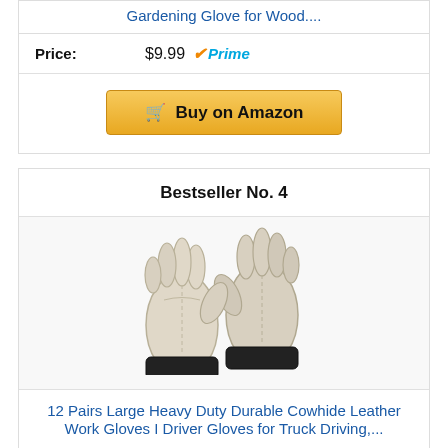Gardening Glove for Wood....
| Price: | $9.99 Prime |
| --- | --- |
[Figure (other): Buy on Amazon button with shopping cart icon]
Bestseller No. 4
[Figure (photo): Two light gray/white cowhide leather work gloves shown side by side]
12 Pairs Large Heavy Duty Durable Cowhide Leather Work Gloves I Driver Gloves for Truck Driving,...